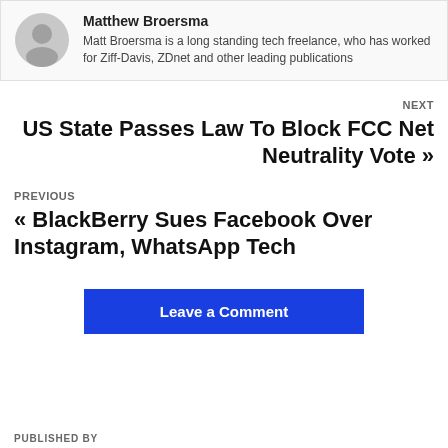Matthew Broersma
Matt Broersma is a long standing tech freelance, who has worked for Ziff-Davis, ZDnet and other leading publications
NEXT
US State Passes Law To Block FCC Net Neutrality Vote »
PREVIOUS
« BlackBerry Sues Facebook Over Instagram, WhatsApp Tech
Leave a Comment
PUBLISHED BY